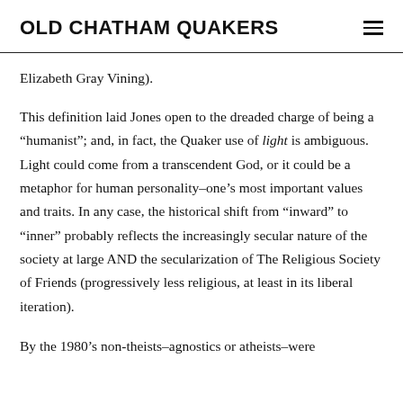OLD CHATHAM QUAKERS
Elizabeth Gray Vining).
This definition laid Jones open to the dreaded charge of being a “humanist”; and, in fact, the Quaker use of light is ambiguous. Light could come from a transcendent God, or it could be a metaphor for human personality–one’s most important values and traits. In any case, the historical shift from “inward” to “inner” probably reflects the increasingly secular nature of the society at large AND the secularization of The Religious Society of Friends (progressively less religious, at least in its liberal iteration).
By the 1980’s non-theists–agnostics or atheists–were